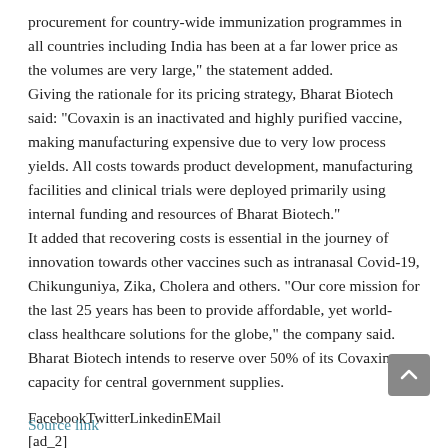procurement for country-wide immunization programmes in all countries including India has been at a far lower price as the volumes are very large," the statement added. Giving the rationale for its pricing strategy, Bharat Biotech said: "Covaxin is an inactivated and highly purified vaccine, making manufacturing expensive due to very low process yields. All costs towards product development, manufacturing facilities and clinical trials were deployed primarily using internal funding and resources of Bharat Biotech." It added that recovering costs is essential in the journey of innovation towards other vaccines such as intranasal Covid-19, Chikunguniya, Zika, Cholera and others. "Our core mission for the last 25 years has been to provide affordable, yet world-class healthcare solutions for the globe," the company said. Bharat Biotech intends to reserve over 50% of its Covaxin capacity for central government supplies.
FacebookTwitterLinkedinEMail
[ad_2]
Source link